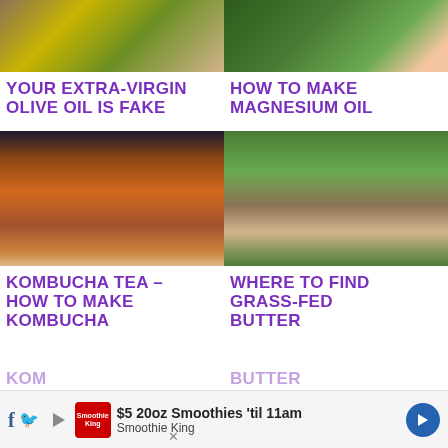[Figure (photo): Olive oil bottle with olives and ingredients for extra-virgin olive oil]
YOUR EXTRA-VIRGIN OLIVE OIL IS FAKE
[Figure (photo): Person holding herbs related to magnesium oil recipe]
HOW TO MAKE MAGNESIUM OIL
[Figure (photo): Several glass bottles of kombucha tea in brown and amber colors on a wooden surface]
KOMBUCHA TEA – HOW TO MAKE KOMBUCHA
[Figure (photo): Jersey cows grazing in a green field]
WHERE TO FIND GRASS-FED BUTTER
[Figure (screenshot): Mobile advertisement for Smoothie King: $5 20oz Smoothies 'til 11am]